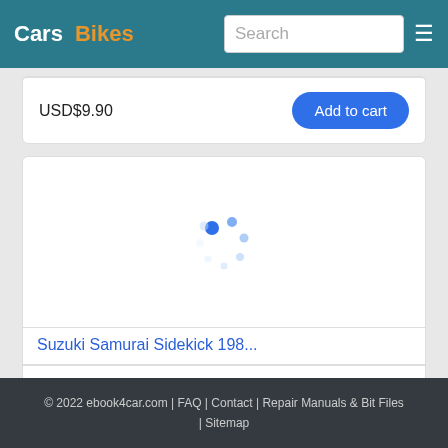Cars  Bikes  Search
USD$9.90
Add to cart
[Figure (screenshot): Loading spinner (animated dots) placeholder for a product image]
Suzuki Samurai Sidekick 198...
USD$11.80
Add to cart
© 2022 ebook4car.com | FAQ | Contact | Repair Manuals & Bit Files | Sitemap